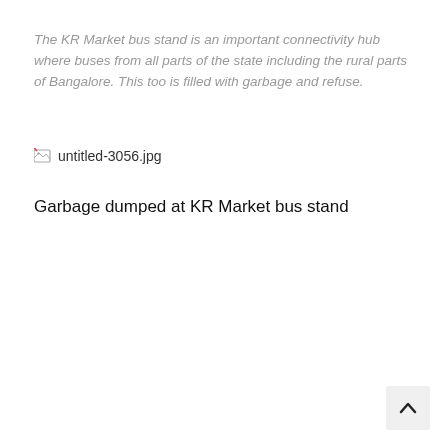The KR Market bus stand is an important connectivity hub where buses from all parts of the state including the rural parts of Bangalore. This too is filled with garbage and refuse.
[Figure (photo): Broken/missing image placeholder labeled untitled-3056.jpg]
Garbage dumped at KR Market bus stand